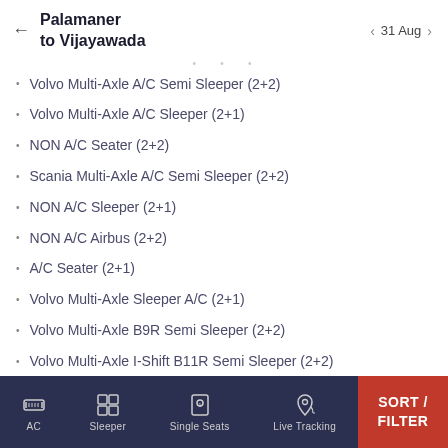Palamaner to Vijayawada — 31 Aug
Volvo Multi-Axle A/C Semi Sleeper (2+2)
Volvo Multi-Axle A/C Sleeper (2+1)
NON A/C Seater (2+2)
Scania Multi-Axle A/C Semi Sleeper (2+2)
NON A/C Sleeper (2+1)
NON A/C Airbus (2+2)
A/C Seater (2+1)
Volvo Multi-Axle Sleeper A/C (2+1)
Volvo Multi-Axle B9R Semi Sleeper (2+2)
Volvo Multi-Axle I-Shift B11R Semi Sleeper (2+2)
A/C Seater (2+2)
AC | Sleeper | Single Seats | Live Tracking | SORT / FILTER